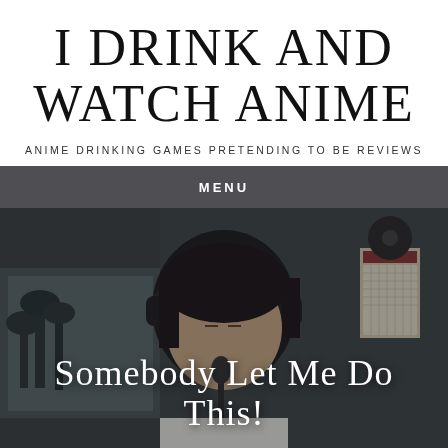I DRINK AND WATCH ANIME
ANIME DRINKING GAMES PRETENDING TO BE REVIEWS
MENU
[Figure (illustration): Anime-style illustration of a character with dark hair wearing large headphones, sitting at a desk in a dimly lit room. Background shows a window with bare trees visible outside. The scene is rendered in muted, dark tones.]
Somebody Let Me Do This!
by IRINA   DECEMBER 12, 2017